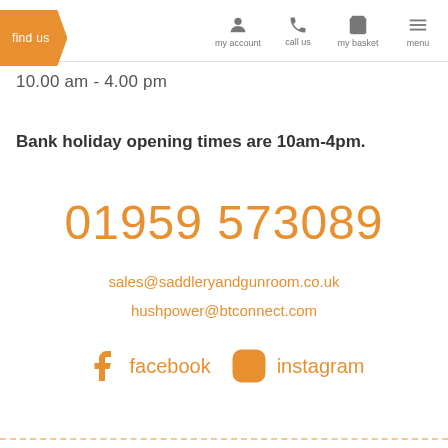find us | my account | call us | my basket | menu
10.00 am - 4.00 pm
Bank holiday opening times are 10am-4pm.
01959 573089
sales@saddleryandgunroom.co.uk
hushpower@btconnect.com
facebook   instagram